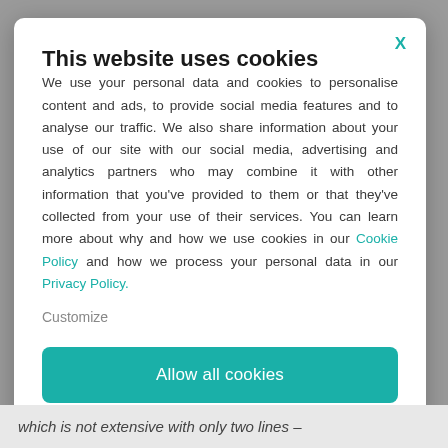This website uses cookies
We use your personal data and cookies to personalise content and ads, to provide social media features and to analyse our traffic. We also share information about your use of our site with our social media, advertising and analytics partners who may combine it with other information that you've provided to them or that they've collected from your use of their services. You can learn more about why and how we use cookies in our Cookie Policy and how we process your personal data in our Privacy Policy.
Customize
Allow all cookies
which is not extensive with only two lines –